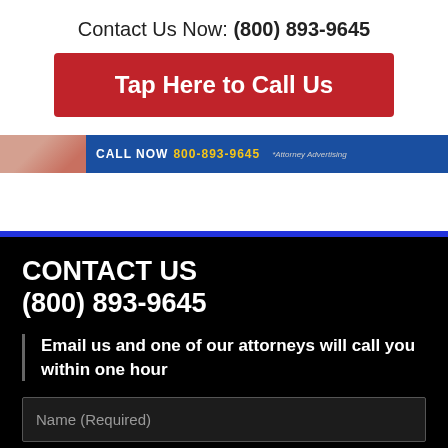Contact Us Now: (800) 893-9645
Tap Here to Call Us
[Figure (screenshot): Banner strip with blue background showing 'CALL NOW 800-893-9645' in white and yellow text, with small 'Attorney Advertising' text and a partial image of a person on the left]
CONTACT US
(800) 893-9645
Email us and one of our attorneys will call you within one hour
Name (Required)